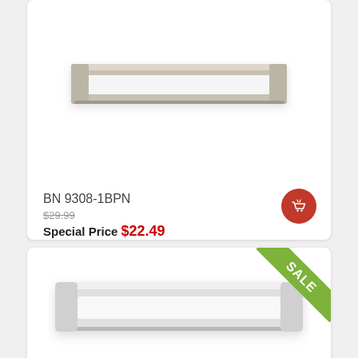[Figure (photo): Product photo of brushed nickel rectangular cabinet handle/pull (BN 9308-1BPN) - top card image area, partially cropped at top]
BN 9308-1BPN
$29.99
Special Price $22.49
[Figure (photo): Product photo of chrome rectangular cabinet handle/pull - second card image area with SALE ribbon in top-right corner]